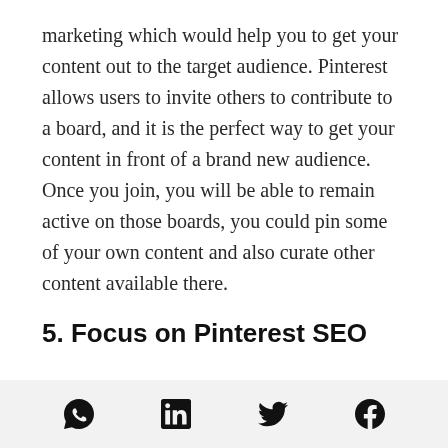marketing which would help you to get your content out to the target audience. Pinterest allows users to invite others to contribute to a board, and it is the perfect way to get your content in front of a brand new audience. Once you join, you will be able to remain active on those boards, you could pin some of your own content and also curate other content available there.
5. Focus on Pinterest SEO
[Figure (other): Social media share icons: WhatsApp, LinkedIn, Twitter, Facebook]